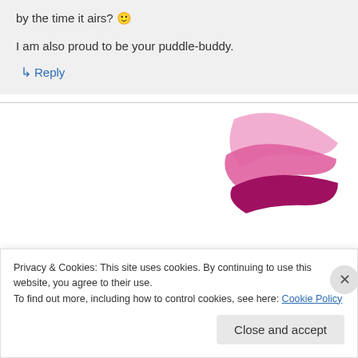by the time it airs? 🙂

I am also proud to be your puddle-buddy.
↳ Reply
[Figure (logo): Pink/magenta stylized swoosh logo, resembling overlapping curved shapes in light pink and dark magenta]
Privacy & Cookies: This site uses cookies. By continuing to use this website, you agree to their use.
To find out more, including how to control cookies, see here: Cookie Policy
Close and accept